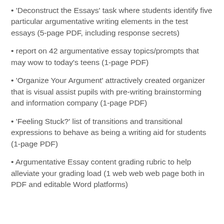• 'Deconstruct the Essays' task where students identify five particular argumentative writing elements in the test essays (5-page PDF, including response secrets)
• report on 42 argumentative essay topics/prompts that may wow to today's teens (1-page PDF)
• 'Organize Your Argument' attractively created organizer that is visual assist pupils with pre-writing brainstorming and information company (1-page PDF)
• 'Feeling Stuck?' list of transitions and transitional expressions to behave as being a writing aid for students (1-page PDF)
• Argumentative Essay content grading rubric to help alleviate your grading load (1 web web web page both in PDF and editable Word platforms)